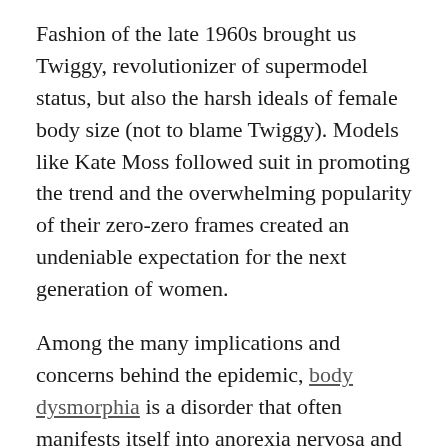Fashion of the late 1960s brought us Twiggy, revolutionizer of supermodel status, but also the harsh ideals of female body size (not to blame Twiggy). Models like Kate Moss followed suit in promoting the trend and the overwhelming popularity of their zero-zero frames created an undeniable expectation for the next generation of women.
Among the many implications and concerns behind the epidemic, body dysmorphia is a disorder that often manifests itself into anorexia nervosa and bulimia out of an obsessive desire to change appearance due to perceived ugliness. Those suffering from it